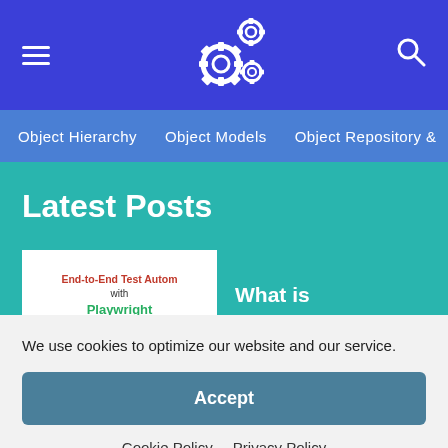Navigation bar with hamburger menu, gear logo, and search icon
Object Hierarchy  Object Models  Object Repository &
Latest Posts
[Figure (illustration): Book cover: End-to-End Test Automation with Playwright, showing a green theater mask]
What is Playwright? – How to Get Started?
We use cookies to optimize our website and our service.
Accept
Cookie Policy  Privacy Policy